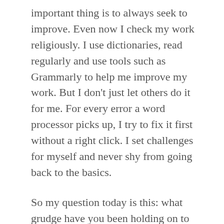important thing is to always seek to improve. Even now I check my work religiously. I use dictionaries, read regularly and use tools such as Grammarly to help me improve my work. But I don't just let others do it for me. For every error a word processor picks up, I try to fix it first without a right click. I set challenges for myself and never shy from going back to the basics.
So my question today is this: what grudge have you been holding on to that could help you change your life for the better? I'd love to know in the comment section below so that I can cheer you on. Everyone deserves the right to go after their dreams, and the encouragement that goes with it.